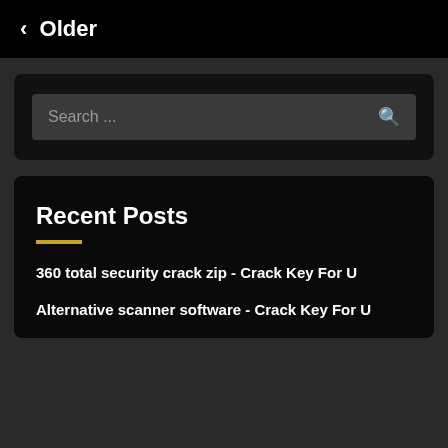< Older
[Figure (screenshot): Search bar with placeholder text 'Search ...' and a search icon on the right]
Recent Posts
360 total security crack zip - Crack Key For U
Alternative scanner software - Crack Key For U